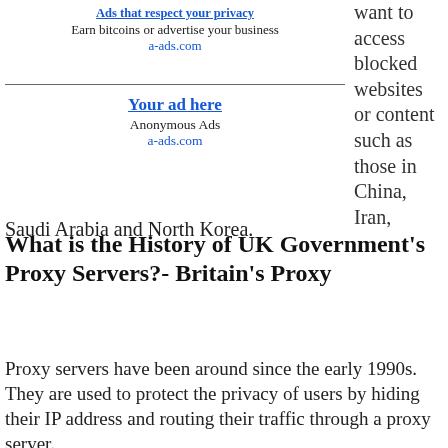Ads that respect your privacy
Earn bitcoins or advertise your business
a-ads.com
Your ad here
Anonymous Ads
a-ads.com
want to access blocked websites or content such as those in China, Iran, Saudi Arabia and North Korea.
What is the History of UK Government's Proxy Servers?- Britain's Proxy
Proxy servers have been around since the early 1990s. They are used to protect the privacy of users by hiding their IP address and routing their traffic through a proxy server.